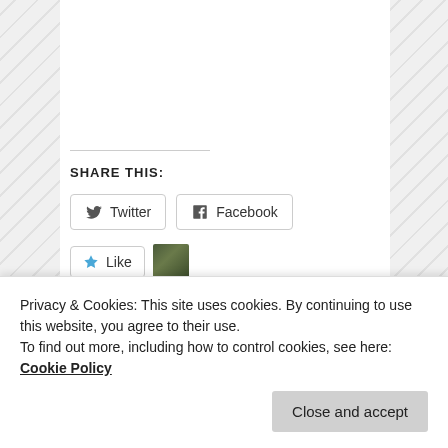SHARE THIS:
Twitter   Facebook
[Figure (other): Like button with star icon and blogger avatar thumbnail]
One blogger likes this.
RELATED
Privacy & Cookies: This site uses cookies. By continuing to use this website, you agree to their use.
To find out more, including how to control cookies, see here: Cookie Policy
Close and accept
profile